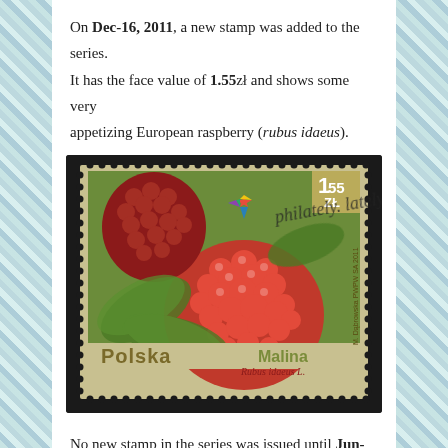On Dec-16, 2011, a new stamp was added to the series. It has the face value of 1.55zł and shows some very appetizing European raspberry (rubus idaeus).
[Figure (photo): A Polish postage stamp showing European raspberry (Malina / Rubus idaeus L.) with face value 1.55 ZŁ, issued 2011, by M. Dąbrowska PWPW SA. The stamp shows a large vivid red raspberry fruit close-up against green leaves. Text 'Polska' at bottom left, 'Malina' and 'Rubus idaeus L.' at bottom right. A watermark overlay reads 'philately. lately.' with a colorful star logo.]
No new stamp in the series was issued until Jun-26,